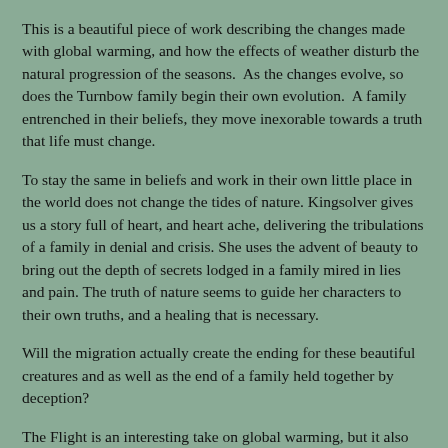This is a beautiful piece of work describing the changes made with global warming, and how the effects of weather disturb the natural progression of the seasons.  As the changes evolve, so does the Turnbow family begin their own evolution.  A family entrenched in their beliefs, they move inexorable towards a truth that life must change.
To stay the same in beliefs and work in their own little place in the world does not change the tides of nature. Kingsolver gives us a story full of heart, and heart ache, delivering the tribulations of a family in denial and crisis. She uses the advent of beauty to bring out the depth of secrets lodged in a family mired in lies and pain. The truth of nature seems to guide her characters to their own truths, and a healing that is necessary.
Will the migration actually create the ending for these beautiful creatures and as well as the end of a family held together by deception?
The Flight is an interesting take on global warming, but it also takes you into the personal lives of a family that has hidden much of their pain and existed in a vacuum of hope that tugs at your heart.